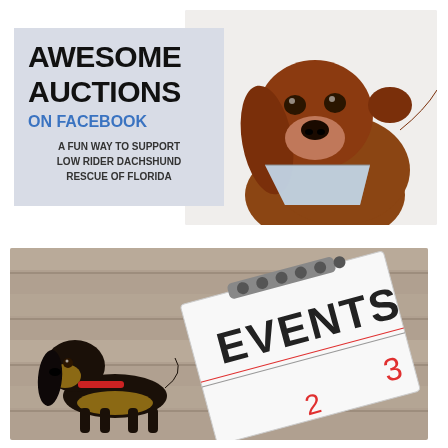[Figure (photo): Promotional graphic with gray-blue background showing 'AWESOME AUCTIONS ON FACEBOOK - A FUN WAY TO SUPPORT LOW RIDER DACHSHUND RESCUE OF FLORIDA' text, alongside a photo of a brown dachshund wearing a blue bandana]
[Figure (photo): Photo of a black and tan dachshund looking at a spiral-bound notebook/calendar showing the word 'EVENTS' with numbers 2 and 3 visible at the bottom, placed on a wooden deck surface]